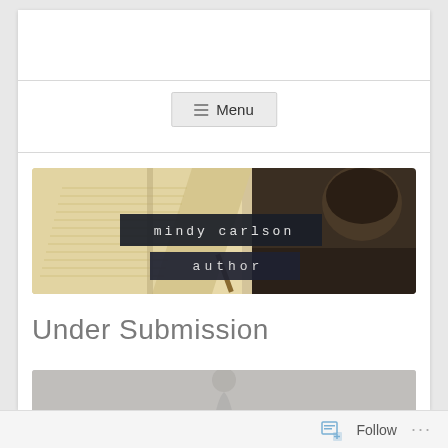Menu
[Figure (illustration): Blog header banner image: open notebook with lined pages on the left (warm beige/tan tones), dark wooden surface with a coffee cup on the right. Centered overlay: dark navy/black rectangle with white monospace text 'mindy carlson', and below it a slightly smaller dark rectangle with white monospace text 'author'.]
Under Submission
[Figure (photo): Partial grayscale/muted photo strip, mostly gray, with faint silhouette of a person or figure visible at center.]
Follow  ...